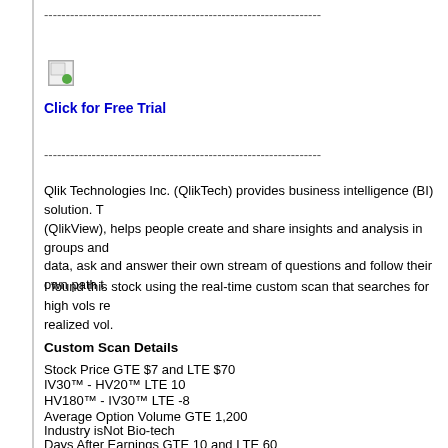----------------------------------------------------------------
[Figure (illustration): Small image icon placeholder with green arrow/refresh symbol]
Click for Free Trial
----------------------------------------------------------------
Qlik Technologies Inc. (QlikTech) provides business intelligence (BI) solution. T (QlikView), helps people create and share insights and analysis in groups and data, ask and answer their own stream of questions and follow their own path t
I found this stock using the real-time custom scan that searches for high vols re realized vol.
Custom Scan Details
Stock Price GTE $7 and LTE $70
IV30™ - HV20™ LTE 10
HV180™ - IV30™ LTE -8
Average Option Volume GTE 1,200
Industry isNot Bio-tech
Days After Earnings GTE 10 and LTE 60